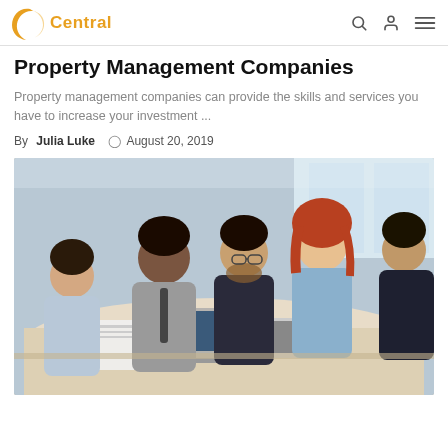Central
Property Management Companies
Property management companies can provide the skills and services you have to increase your investment ...
By Julia Luke  © August 20, 2019
[Figure (photo): Business meeting scene with five professionals seated around a conference table reviewing documents, including a Black man in a gray suit, a bearded man with glasses in a dark suit, a woman with red hair in a light blue shirt, and two other men in business attire.]